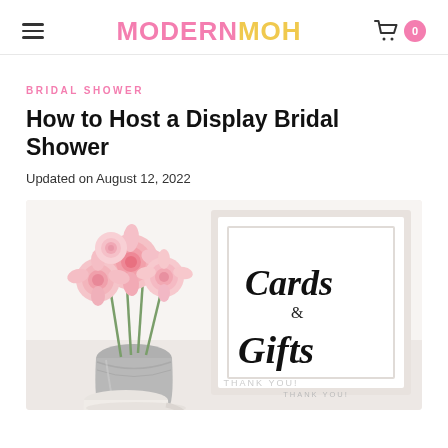MODERNMOH
BRIDAL SHOWER
How to Host a Display Bridal Shower
Updated on August 12, 2022
[Figure (photo): Photo of pink roses in a metal vase next to a framed 'Cards & Gifts - Thank You!' sign against a white background]